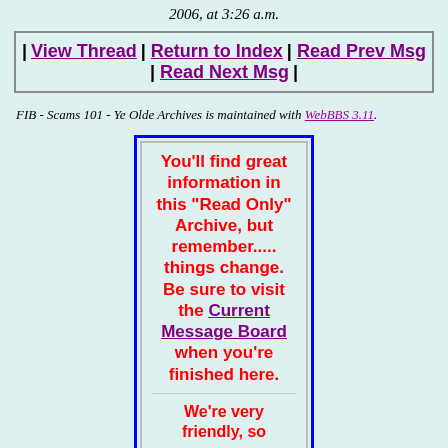2006, at 3:26 a.m.
| View Thread | Return to Index | Read Prev Msg | Read Next Msg |
FIB - Scams 101 - Ye Olde Archives is maintained with WebBBS 3.11.
[Figure (other): Advertisement box with blue border containing red bold text: 'You'll find great information in this "Read Only" Archive, but remember..... things change. Be sure to visit the Current Message Board when you're finished here.' followed by 'We're very friendly, so...']